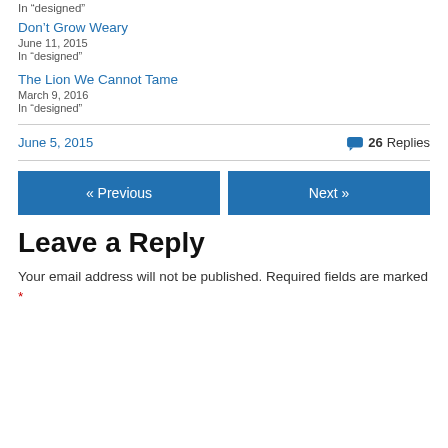In “designed”
Don’t Grow Weary
June 11, 2015
In “designed”
The Lion We Cannot Tame
March 9, 2016
In “designed”
June 5, 2015    26 Replies
« Previous
Next »
Leave a Reply
Your email address will not be published. Required fields are marked *